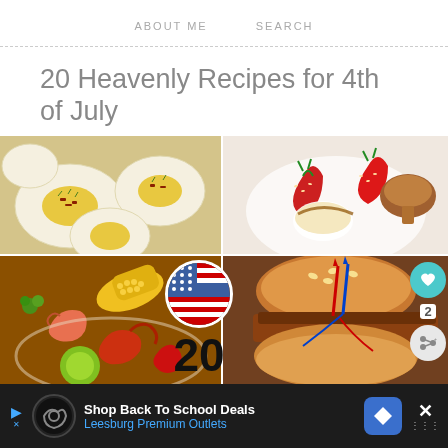ABOUT ME   SEARCH
20 Heavenly Recipes for 4th of July
[Figure (photo): Two food photos in a grid: left shows deviled eggs topped with bacon and chives, right shows strawberries with cream on toasted marshmallows]
[Figure (photo): Two food photos: left shows a seafood boil with shrimp, lobster, and corn; right shows a sloppy joe burger with red and blue 4th of July decorations. Center overlay shows a circular US flag badge above the bold number 20. Side UI buttons include a teal heart, '2' count, and share icon.]
[Figure (photo): Partial row of food photos at bottom, partially obscured by ad banner]
Shop Back To School Deals
Leesburg Premium Outlets